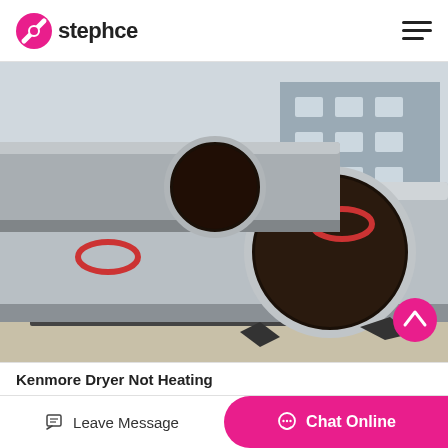stephce
[Figure (photo): Industrial rotary dryer cylinders/drums on a factory yard, with support rollers and drive gears visible. Buildings in the background. The large cylindrical drums are silver-grey in color with red accent rings.]
Kenmore Dryer Not Heating
Leave Message
Chat Online